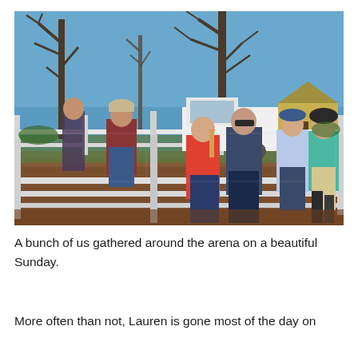[Figure (photo): A group of people gathered around a white fence enclosing a horse arena on a sunny day. Bare trees and a yellow barn building are visible in the background, along with a white pickup truck. Several people are standing and talking by the fence — two women in the center (one in a red shirt, one in a blue/dark top with sunglasses), two people on the left by the fence, and two people on the right (one in a teal top wearing riding gear with a helmet, one in a light blue top).]
A bunch of us gathered around the arena on a beautiful Sunday.
More often than not, Lauren is gone most of the day on